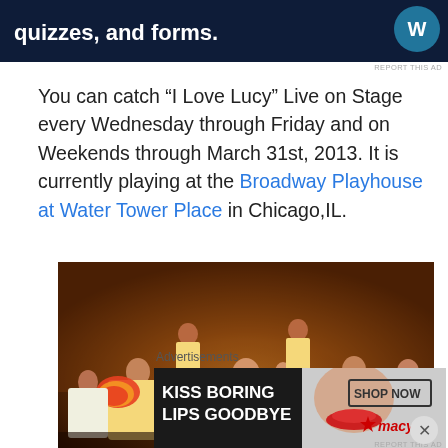[Figure (screenshot): Dark blue advertisement banner at top with text 'quizzes, and forms.' and WordPress logo]
You can catch “I Love Lucy” Live on Stage every Wednesday through Friday and on Weekends through March 31st, 2013. It is currently playing at the Broadway Playhouse at Water Tower Place in Chicago,IL.
[Figure (photo): Performance photo showing performers in colorful ruffled sleeves surrounding a man in a tuxedo on stage, with a band in the background]
[Figure (screenshot): Advertisement: 'KISS BORING LIPS GOODBYE' with a woman's face and red lips, SHOP NOW button, macys logo on right side]